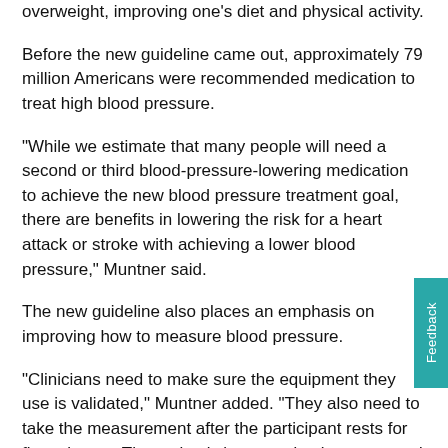overweight, improving one's diet and physical activity.
Before the new guideline came out, approximately 79 million Americans were recommended medication to treat high blood pressure.
“While we estimate that many people will need a second or third blood-pressure-lowering medication to achieve the new blood pressure treatment goal, there are benefits in lowering the risk for a heart attack or stroke with achieving a lower blood pressure,” Muntner said.
The new guideline also places an emphasis on improving how to measure blood pressure.
“Clinicians need to make sure the equipment they use is validated,” Muntner added. “They also need to take the measurement after the participant rests for five minutes. The patient’s legs need to be uncrossed with their feet flat on the floor.”
Muntner says the final takeaway from the guidelines is a team-based approach to care. The guideline recommends having the doctor involved with the patient’s treatment, and includes others such as a pharmacist and a nutritionist.